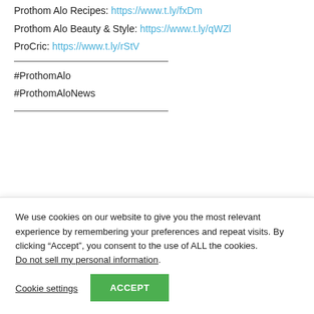Prothom Alo Recipes: https://www.t.ly/fxDm
Prothom Alo Beauty & Style: https://www.t.ly/qWZl
ProCric: https://www.t.ly/rStV
#ProthomAlo
#ProthomAloNews
We use cookies on our website to give you the most relevant experience by remembering your preferences and repeat visits. By clicking “Accept”, you consent to the use of ALL the cookies. Do not sell my personal information.
Cookie settings
ACCEPT